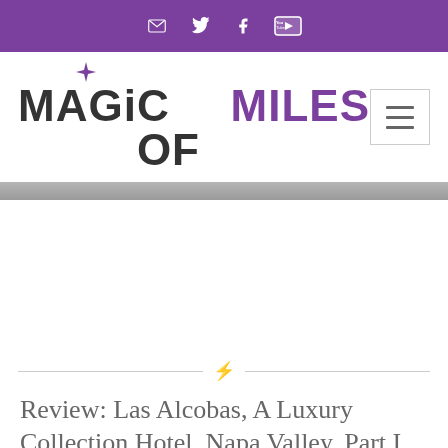Social icons: email, twitter, facebook, youtube
[Figure (logo): Magic of Miles logo with purple star diamond above the letter i in MAGIC, text reads MAGIC OF MILES with MILES in purple]
Review: Las Alcobas, A Luxury Collection Hotel, Napa Valley, Part I